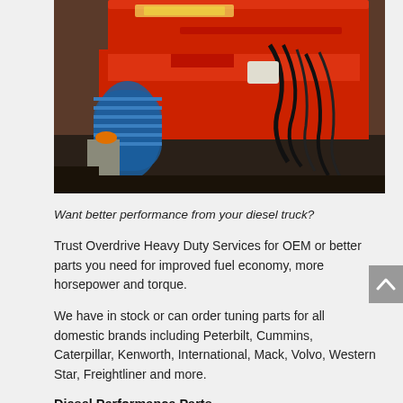[Figure (photo): Photo of a red diesel truck engine with blue intake hose and various cables and components visible.]
Want better performance from your diesel truck?
Trust Overdrive Heavy Duty Services for OEM or better parts you need for improved fuel economy, more horsepower and torque.
We have in stock or can order tuning parts for all domestic brands including Peterbilt, Cummins, Caterpillar, Kenworth, International, Mack, Volvo, Western Star, Freightliner and more.
Diesel Performance Parts
Tuning